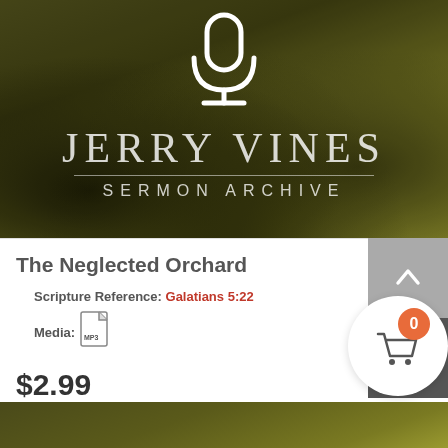[Figure (photo): Jerry Vines Sermon Archive logo over a grassy field background, with a white microphone icon at top and the text JERRY VINES SERMON ARCHIVE]
The Neglected Orchard
Scripture Reference: Galatians 5:22
Media: MP3
$2.99